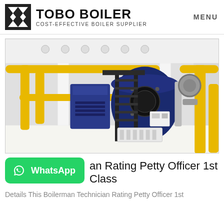TOBO BOILER COST-EFFECTIVE BOILER SUPPLIER | MENU
[Figure (photo): Industrial boiler room interior with large blue cylindrical boilers, yellow gas pipes, black metal staircases, and white floor in a factory setting]
an Rating Petty Officer 1st Class
Details This Boilerman Technician Rating Petty Officer 1st